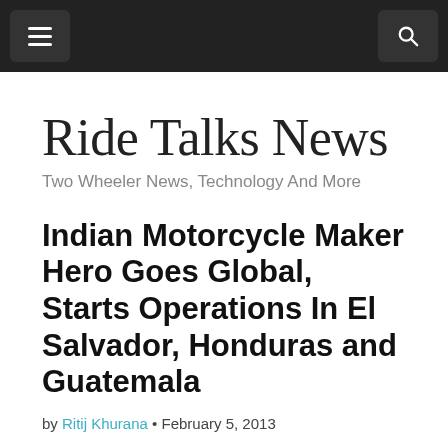Ride Talks News — navigation bar
Ride Talks News
Two Wheeler News, Technology And More
Indian Motorcycle Maker Hero Goes Global, Starts Operations In El Salvador, Honduras and Guatemala
by Ritij Khurana • February 5, 2013